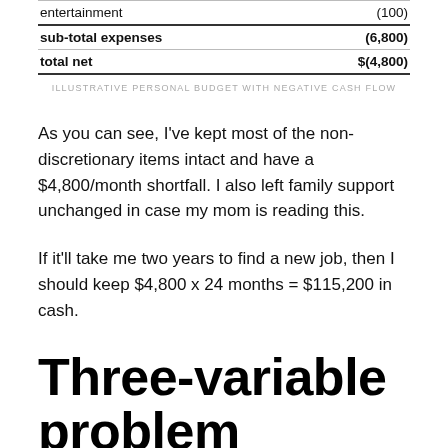|  |  |
| --- | --- |
| entertainment | (100) |
| sub-total expenses | (6,800) |
| total net | $(4,800) |
ILLUSTRATIVE PERSONAL BUDGET WITH NEGATIVE CASH FLOW
As you can see, I've kept most of the non-discretionary items intact and have a $4,800/month shortfall. I also left family support unchanged in case my mom is reading this.
If it'll take me two years to find a new job, then I should keep $4,800 x 24 months = $115,200 in cash.
Three-variable problem